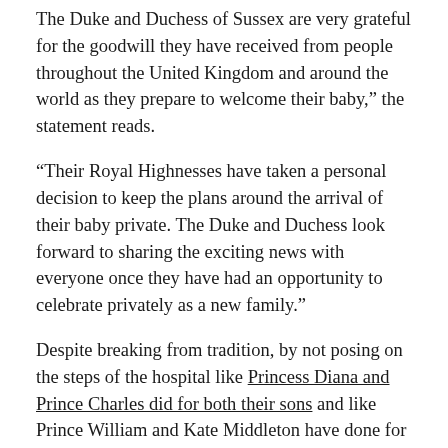The Duke and Duchess of Sussex are very grateful for the goodwill they have received from people throughout the United Kingdom and around the world as they prepare to welcome their baby,” the statement reads.
“Their Royal Highnesses have taken a personal decision to keep the plans around the arrival of their baby private. The Duke and Duchess look forward to sharing the exciting news with everyone once they have had an opportunity to celebrate privately as a new family.”
Despite breaking from tradition, by not posing on the steps of the hospital like Princess Diana and Prince Charles did for both their sons and like Prince William and Kate Middleton have done for their three children, the palace did confirm that Prince Harry and Meghan will take part in a photo call with their new baby on the grounds of Windsor Castle, a few days after the birth.
Tim Rooke, who has photographed all three of the Duchess of Cambridge’s babies outside the Lindo Wing of St Mary’s hospital in London...